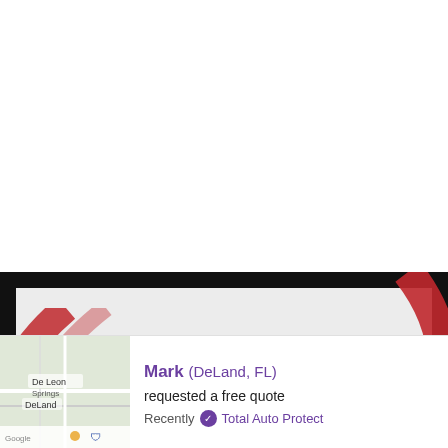[Figure (screenshot): Total Auto Protect brand banner with dark background, light grey inner panel, curved red decorative stripes, stylized T logo, and a search icon box in the lower right corner.]
Mark (DeLand, FL)
requested a free quote
Recently ✓ Total Auto Protect